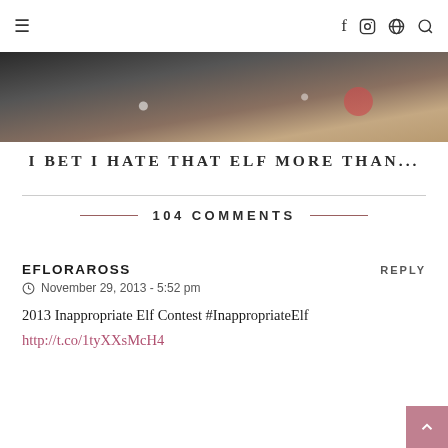≡  f  [instagram]  [pinterest]  [search]
[Figure (photo): Partial cropped image showing a dark background with a red object and bokeh light dots, appears to be an elf decoration photo]
I BET I HATE THAT ELF MORE THAN...
104 COMMENTS
EFLORAROSS
November 29, 2013 - 5:52 pm
2013 Inappropriate Elf Contest #InappropriateElf
http://t.co/1tyXXsMcH4